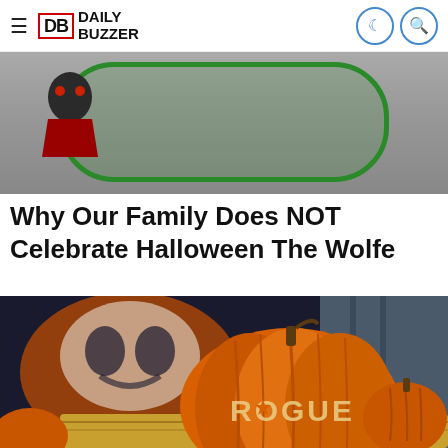Daily Buzzer
[Figure (photo): Partial top image showing a green oval/rounded rectangle border on a gray background with a dark figure on the left side]
Why Our Family Does NOT Celebrate Halloween The Wolfe
[Figure (photo): A large orange pumpkin with 'ROGUE' carved into it, sitting on hay bales, with a blurry Halloween skull/monster artwork in the background]